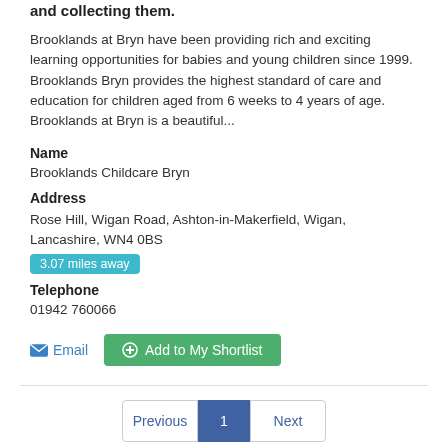and collecting them.
Brooklands at Bryn have been providing rich and exciting learning opportunities for babies and young children since 1999. Brooklands Bryn provides the highest standard of care and education for children aged from 6 weeks to 4 years of age. Brooklands at Bryn is a beautiful...
Name
Brooklands Childcare Bryn
Address
Rose Hill, Wigan Road, Ashton-in-Makerfield, Wigan, Lancashire, WN4 0BS
3.07 miles away
Telephone
01942 760066
Email  Add to My Shortlist
Previous  1  Next